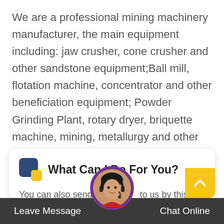We are a professional mining machinery manufacturer, the main equipment including: jaw crusher, cone crusher and other sandstone equipment;Ball mill, flotation machine, concentrator and other beneficiation equipment; Powder Grinding Plant, rotary dryer, briquette machine, mining, metallurgy and other related equipment.If you are interested in our products or want to visit the nearby production site, you can click the button to consult us.
[Figure (infographic): A chat widget card with a two-tone icon (dark blue square overlapping yellow square), title 'What Can I Do For You?', and partial body text 'You can also send a m... to us by this email']
Leave Message    Chat Online